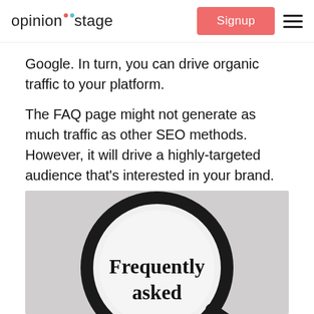opinion stage | Signup
Google. In turn, you can drive organic traffic to your platform.
The FAQ page might not generate as much traffic as other SEO methods. However, it will drive a highly-targeted audience that’s interested in your brand.
[Figure (photo): A magnifying glass showing the text 'Frequently asked' against a light gray background, cropped at the bottom.]